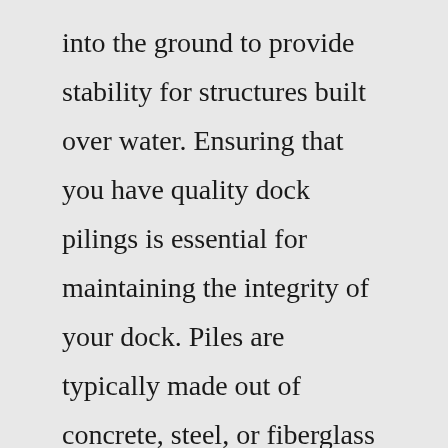into the ground to provide stability for structures built over water. Ensuring that you have quality dock pilings is essential for maintaining the integrity of your dock. Piles are typically made out of concrete, steel, or fiberglass and have different sizes depending on what you need to do with them ...Step 2: Decide on your decking to determine your on-center measurement needs. Step 3: Plan your layout and order